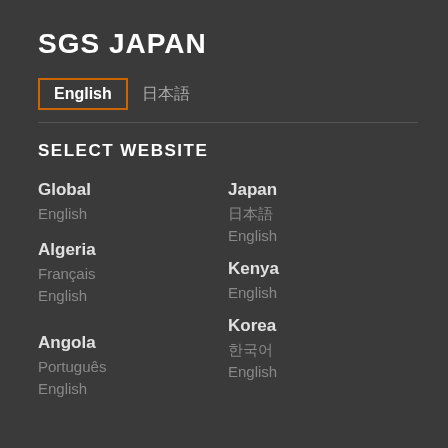SGS JAPAN
English  □□□
SELECT WEBSITE
Global
English
Japan
□□□
English
Algeria
Français
English
Kenya
English
Angola
Português
English
Korea
□□□
English